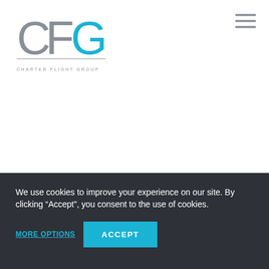[Figure (logo): CFG Charter Flight Group logo — large grey C, grey F, and cyan G letters with a thin line separator and 'CHARTER FLIGHT GROUP' text below in grey spaced caps]
[Figure (other): Hamburger menu icon — three horizontal grey lines stacked]
We use cookies to improve your experience on our site. By clicking “Accept”, you consent to the use of cookies.
MORE OPTIONS
ACCEPT